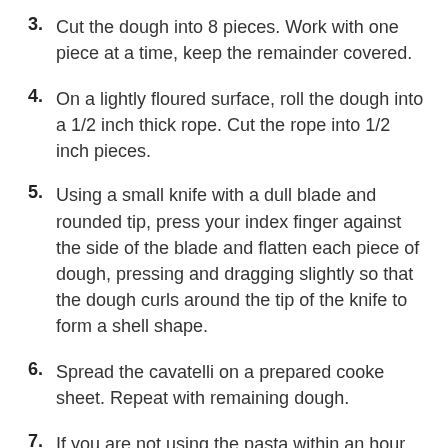3. Cut the dough into 8 pieces. Work with one piece at a time, keep the remainder covered.
4. On a lightly floured surface, roll the dough into a 1/2 inch thick rope. Cut the rope into 1/2 inch pieces.
5. Using a small knife with a dull blade and rounded tip, press your index finger against the side of the blade and flatten each piece of dough, pressing and dragging slightly so that the dough curls around the tip of the knife to form a shell shape.
6. Spread the cavatelli on a prepared cooke sheet. Repeat with remaining dough.
7. If you are not using the pasta within an hour, place the pans in the freezer. When the pieces